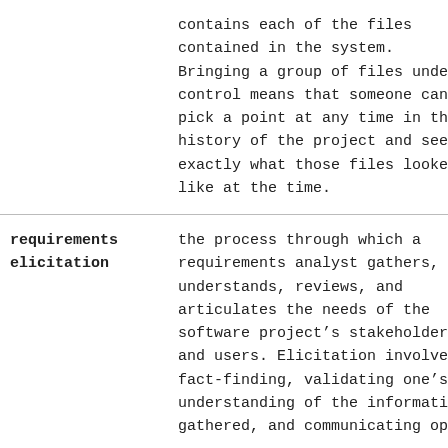| Term | Definition |
| --- | --- |
|  | contains each of the files contained in the system. Bringing a group of files under control means that someone can pick a point at any time in the history of the project and see exactly what those files looked like at the time. |
| requirements elicitation | the process through which a requirements analyst gathers, understands, reviews, and articulates the needs of the software project’s stakeholders and users. Elicitation involves fact-finding, validating one’s understanding of the information gathered, and communicating open |